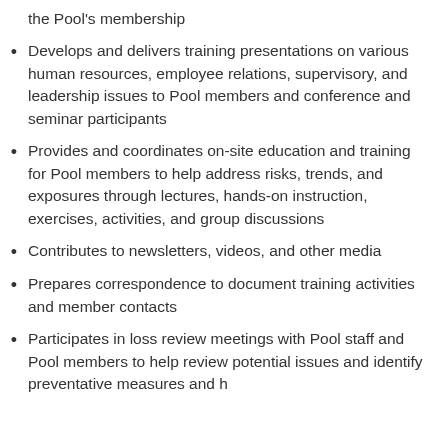the Pool's membership
Develops and delivers training presentations on various human resources, employee relations, supervisory, and leadership issues to Pool members and conference and seminar participants
Provides and coordinates on-site education and training for Pool members to help address risks, trends, and exposures through lectures, hands-on instruction, exercises, activities, and group discussions
Contributes to newsletters, videos, and other media
Prepares correspondence to document training activities and member contacts
Participates in loss review meetings with Pool staff and Pool members to help review potential issues and identify preventative measures and h…